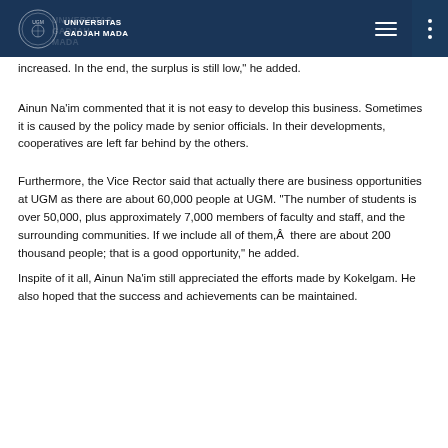Universitas Gadjah Mada
increased. In the end, the surplus is still low," he added.
Ainun Na'im commented that it is not easy to develop this business. Sometimes it is caused by the policy made by senior officials. In their developments, cooperatives are left far behind by the others.
Furthermore, the Vice Rector said that actually there are business opportunities at UGM as there are about 60,000 people at UGM. "The number of students is over 50,000, plus approximately 7,000 members of faculty and staff, and the surrounding communities. If we include all of them,Â  there are about 200 thousand people; that is a good opportunity," he added.
Inspite of it all, Ainun Na'im still appreciated the efforts made by Kokelgam. He also hoped that the success and achievements can be maintained.